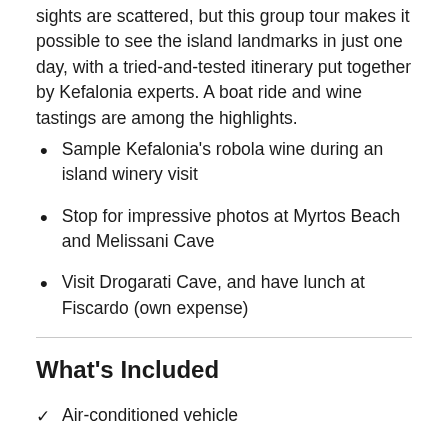sights are scattered, but this group tour makes it possible to see the island landmarks in just one day, with a tried-and-tested itinerary put together by Kefalonia experts. A boat ride and wine tastings are among the highlights.
Sample Kefalonia's robola wine during an island winery visit
Stop for impressive photos at Myrtos Beach and Melissani Cave
Visit Drogarati Cave, and have lunch at Fiscardo (own expense)
What's Included
Air-conditioned vehicle